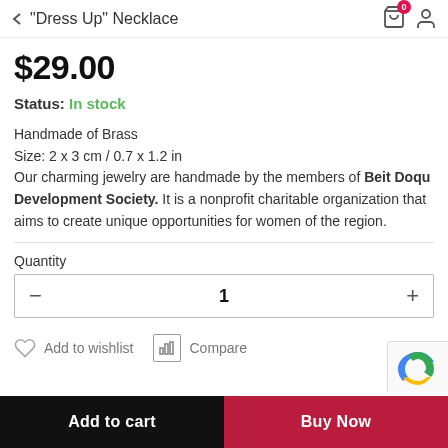"Dress Up" Necklace
$29.00
Status: In stock
Handmade of Brass
Size: 2 x 3 cm / 0.7 x 1.2 in
Our charming jewelry are handmade by the members of Beit Doqu Development Society. It is a nonprofit charitable organization that aims to create unique opportunities for women of the region.
Quantity
1
Add to wishlist
Compare
Add to cart
Buy Now